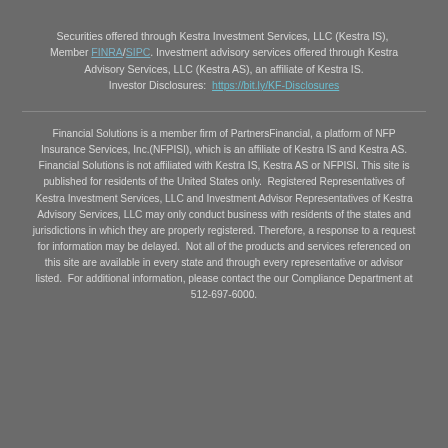Securities offered through Kestra Investment Services, LLC (Kestra IS), Member FINRA/SIPC. Investment advisory services offered through Kestra Advisory Services, LLC (Kestra AS), an affiliate of Kestra IS. Investor Disclosures: https://bit.ly/KF-Disclosures
Financial Solutions is a member firm of PartnersFinancial, a platform of NFP Insurance Services, Inc.(NFPISI), which is an affiliate of Kestra IS and Kestra AS. Financial Solutions is not affiliated with Kestra IS, Kestra AS or NFPISI. This site is published for residents of the United States only. Registered Representatives of Kestra Investment Services, LLC and Investment Advisor Representatives of Kestra Advisory Services, LLC may only conduct business with residents of the states and jurisdictions in which they are properly registered. Therefore, a response to a request for information may be delayed. Not all of the products and services referenced on this site are available in every state and through every representative or advisor listed. For additional information, please contact the our Compliance Department at 512-697-6000.